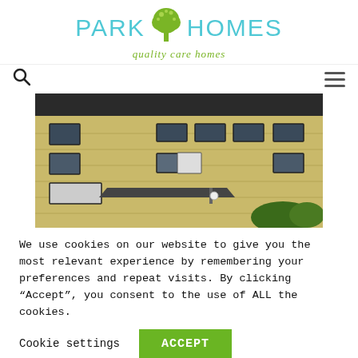[Figure (logo): Park Homes quality care homes logo — cyan/teal uppercase text 'PARK HOMES' with a green tree icon between the words and italic green tagline 'quality care homes']
[Figure (other): Navigation bar with search icon (magnifying glass) on left and hamburger menu icon on right]
[Figure (photo): Exterior photo of a multi-storey brick care home building with dark roof, multiple windows, and a small canopy entrance]
We use cookies on our website to give you the most relevant experience by remembering your preferences and repeat visits. By clicking “Accept”, you consent to the use of ALL the cookies.
Cookie settings   ACCEPT